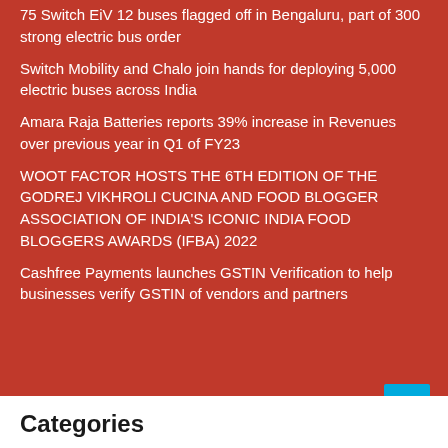75 Switch EiV 12 buses flagged off in Bengaluru, part of 300 strong electric bus order
Switch Mobility and Chalo join hands for deploying 5,000 electric buses across India
Amara Raja Batteries reports 39% increase in Revenues over previous year in Q1 of FY23
WOOT FACTOR HOSTS THE 6TH EDITION OF THE GODREJ VIKHROLI CUCINA AND FOOD BLOGGER ASSOCIATION OF INDIA'S ICONIC INDIA FOOD BLOGGERS AWARDS (IFBA) 2022
Cashfree Payments launches GSTIN Verification to help businesses verify GSTIN of vendors and partners
Categories